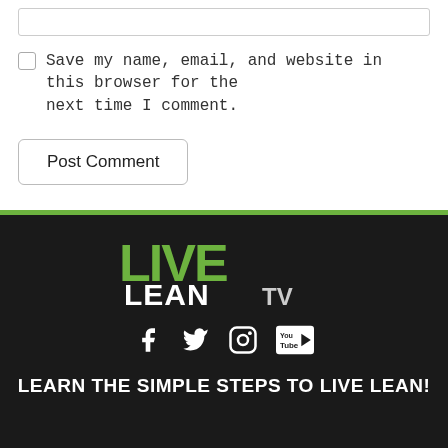Save my name, email, and website in this browser for the next time I comment.
Post Comment
[Figure (logo): Live Lean TV logo with green grunge-style text and white LEAN TV text on dark background]
[Figure (infographic): Social media icons: Facebook, Twitter, Instagram, YouTube]
LEARN THE SIMPLE STEPS TO LIVE LEAN!